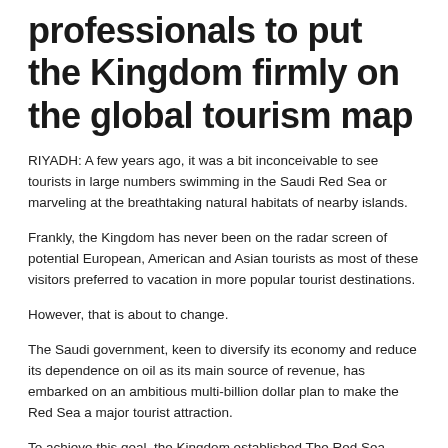professionals to put the Kingdom firmly on the global tourism map
RIYADH: A few years ago, it was a bit inconceivable to see tourists in large numbers swimming in the Saudi Red Sea or marveling at the breathtaking natural habitats of nearby islands.
Frankly, the Kingdom has never been on the radar screen of potential European, American and Asian tourists as most of these visitors preferred to vacation in more popular tourist destinations.
However, that is about to change.
The Saudi government, keen to diversify its economy and reduce its dependence on oil as its main source of revenue, has embarked on an ambitious multi-billion dollar plan to make the Red Sea a major tourist attraction.
To achieve this goal, the Kingdom established The Red Sea